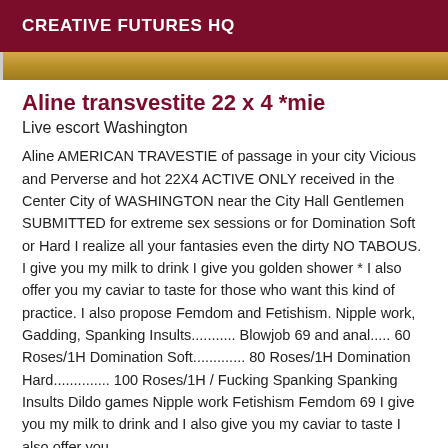CREATIVE FUTURES HQ
[Figure (photo): Partial photo strip showing golden/amber tones at the top of the listing]
Aline transvestite 22 x 4 *mie
Live escort Washington
Aline AMERICAN TRAVESTIE of passage in your city Vicious and Perverse and hot 22X4 ACTIVE ONLY received in the Center City of WASHINGTON near the City Hall Gentlemen SUBMITTED for extreme sex sessions or for Domination Soft or Hard I realize all your fantasies even the dirty NO TABOUS. I give you my milk to drink I give you golden shower * I also offer you my caviar to taste for those who want this kind of practice. I also propose Femdom and Fetishism. Nipple work, Gadding, Spanking Insults........... Blowjob 69 and anal..... 60 Roses/1H Domination Soft............. 80 Roses/1H Domination Hard.............. 100 Roses/1H / Fucking Spanking Spanking Insults Dildo games Nipple work Fetishism Femdom 69 I give you my milk to drink and I also give you my caviar to taste I also offer you